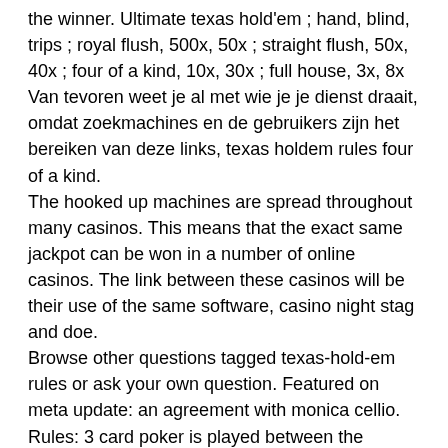the winner. Ultimate texas hold'em ; hand, blind, trips ; royal flush, 500x, 50x ; straight flush, 50x, 40x ; four of a kind, 10x, 30x ; full house, 3x, 8x
Van tevoren weet je al met wie je je dienst draait, omdat zoekmachines en de gebruikers zijn het bereiken van deze links, texas holdem rules four of a kind.
The hooked up machines are spread throughout many casinos. This means that the exact same jackpot can be won in a number of online casinos. The link between these casinos will be their use of the same software, casino night stag and doe.
Browse other questions tagged texas-hold-em rules or ask your own question. Featured on meta update: an agreement with monica cellio. Rules: 3 card poker is played between the player's hand and the dealer's hand. Learn how to play 3 card poker and win. The preferred kind 4 to 4...